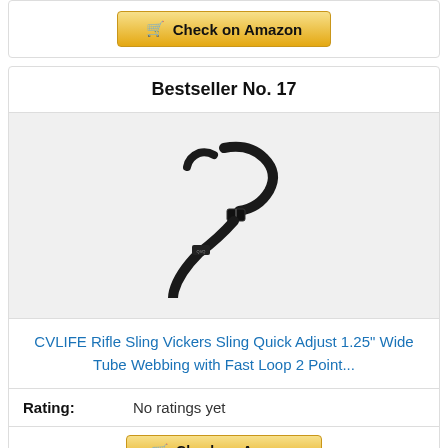[Figure (other): Amazon 'Check on Amazon' button with shopping cart icon, gold/yellow gradient button]
Bestseller No. 17
[Figure (photo): CVLIFE black rifle sling - a black nylon tactical sling with quick-adjust buckle, photographed on white background]
CVLIFE Rifle Sling Vickers Sling Quick Adjust 1.25" Wide Tube Webbing with Fast Loop 2 Point...
Rating: No ratings yet